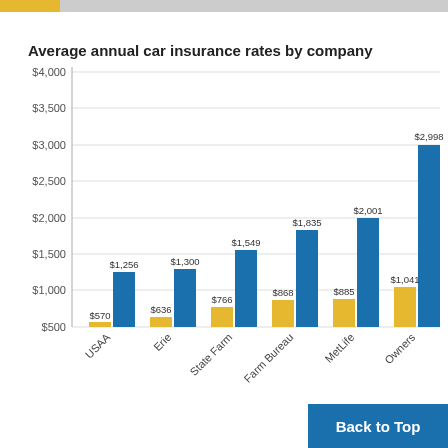[Figure (bar-chart): Average annual car insurance rates by company]